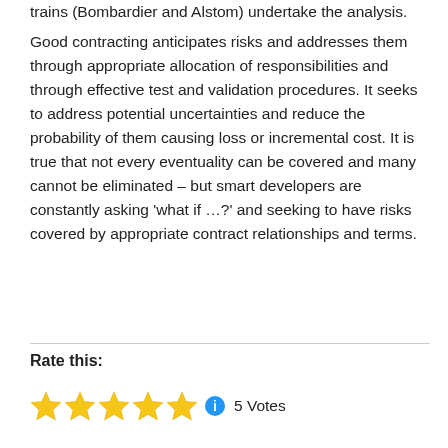trains (Bombardier and Alstom) undertake the analysis.
Good contracting anticipates risks and addresses them through appropriate allocation of responsibilities and through effective test and validation procedures. It seeks to address potential uncertainties and reduce the probability of them causing loss or incremental cost. It is true that not every eventuality can be covered and many cannot be eliminated – but smart developers are constantly asking 'what if …?' and seeking to have risks covered by appropriate contract relationships and terms.
Rate this:
5 Votes